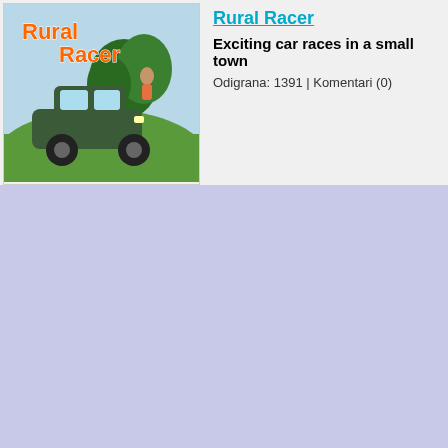[Figure (illustration): Rural Racer game thumbnail showing a green car on a grassy landscape with the text 'Rural Racer' in orange letters]
Rural Racer
Exciting car races in a small town
Odigrana: 1391 | Komentari (0)